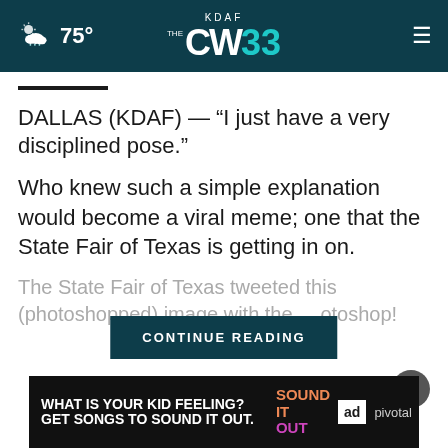KDAF CW33 — 75° weather header with hamburger menu
DALLAS (KDAF) — “I just have a very disciplined pose.”
Who knew such a simple explanation would become a viral meme; one that the State Fair of Texas is getting in on.
The State Fair of Texas tweeted this (photoshopped) image with the ... otoshop!
CONTINUE READING
[Figure (screenshot): Ad banner: WHAT IS YOUR KID FEELING? GET SONGS TO SOUND IT OUT. SOUND IT OUT. ad council. pivotal.]